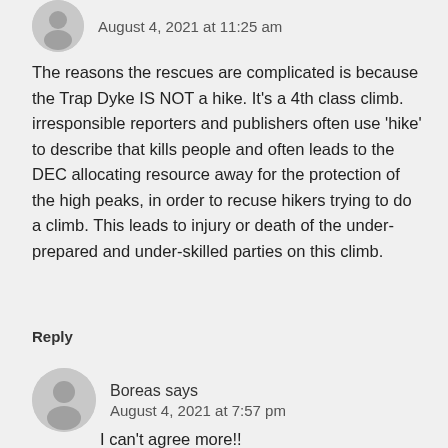August 4, 2021 at 11:25 am
The reasons the rescues are complicated is because the Trap Dyke IS NOT a hike. It's a 4th class climb. irresponsible reporters and publishers often use 'hike' to describe that kills people and often leads to the DEC allocating resource away for the protection of the high peaks, in order to recuse hikers trying to do a climb. This leads to injury or death of the under-prepared and under-skilled parties on this climb.
Reply
Boreas says
August 4, 2021 at 7:57 pm
I can't agree more!!